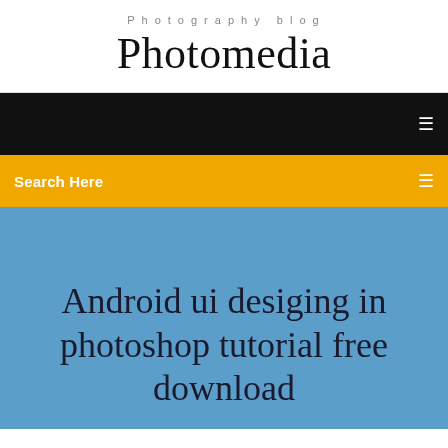Photography blog
Photomedia
[Figure (screenshot): Black navigation bar with a menu icon on the right]
Search Here
Android ui desiging in photoshop tutorial free download